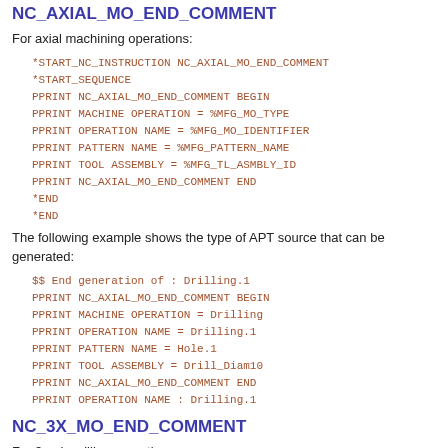NC_AXIAL_MO_END_COMMENT
For axial machining operations:
*START_NC_INSTRUCTION NC_AXIAL_MO_END_COMMENT
*START_SEQUENCE
PPRINT NC_AXIAL_MO_END_COMMENT BEGIN
PPRINT MACHINE OPERATION = %MFG_MO_TYPE
PPRINT OPERATION NAME = %MFG_MO_IDENTIFIER
PPRINT PATTERN NAME = %MFG_PATTERN_NAME
PPRINT TOOL ASSEMBLY = %MFG_TL_ASMBLY_ID
PPRINT NC_AXIAL_MO_END_COMMENT END
*END
*END
The following example shows the type of APT source that can be generated:
$$ End generation of : Drilling.1
PPRINT NC_AXIAL_MO_END_COMMENT BEGIN
PPRINT MACHINE OPERATION = Drilling
PPRINT OPERATION NAME = Drilling.1
PPRINT PATTERN NAME = Hole.1
PPRINT TOOL ASSEMBLY = Drill_Diam10
PPRINT NC_AXIAL_MO_END_COMMENT END
PPRINT OPERATION NAME : Drilling.1
NC_3X_MO_END_COMMENT
For 3-axis milling operations: